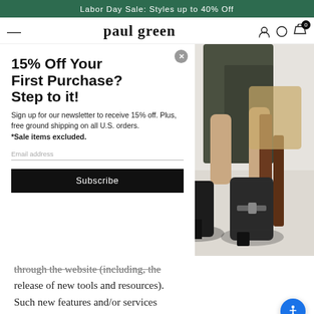Labor Day Sale: Styles up to 40% Off
paul green
[Figure (screenshot): Paul Green website screenshot showing a popup modal with '15% Off Your First Purchase? Step to it!' newsletter signup offer overlaid on a hero image of black leather ankle boots worn by a seated woman.]
15% Off Your First Purchase? Step to it!
Sign up for our newsletter to receive 15% off. Plus, free ground shipping on all U.S. orders. *Sale items excluded.
Email address
Subscribe
through the website (including, the release of new tools and resources). Such new features and/or services shall also be subject to these Terms